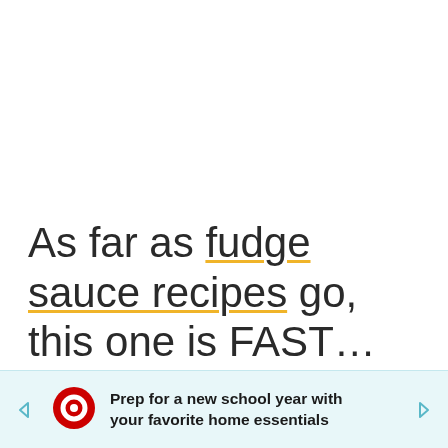As far as fudge sauce recipes go, this one is FAST… ready in about 5 minutes and made with ingredients you likely already have in your pantry. At least I did when
[Figure (other): Advertisement banner: Target logo with text 'Prep for a new school year with your favorite home essentials' on a light blue background with navigation arrows.]